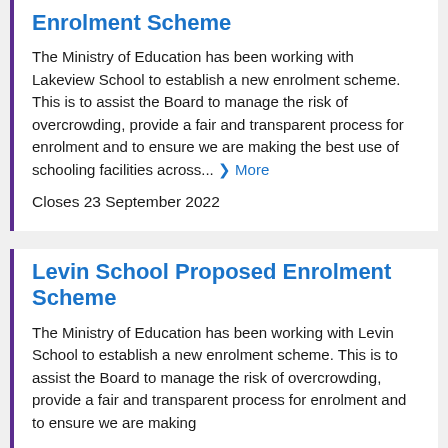Enrolment Scheme
The Ministry of Education has been working with Lakeview School to establish a new enrolment scheme. This is to assist the Board to manage the risk of overcrowding, provide a fair and transparent process for enrolment and to ensure we are making the best use of schooling facilities across... ❯ More
Closes 23 September 2022
Levin School Proposed Enrolment Scheme
The Ministry of Education has been working with Levin School to establish a new enrolment scheme. This is to assist the Board to manage the risk of overcrowding, provide a fair and transparent process for enrolment and to ensure we are making